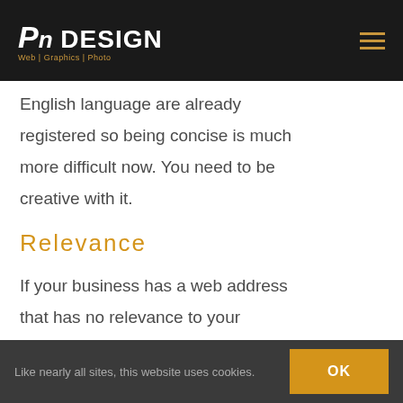PN DESIGN Web | Graphics | Photo
English language are already registered so being concise is much more difficult now. You need to be creative with it.
Relevance
If your business has a web address that has no relevance to your
Like nearly all sites, this website uses cookies. OK